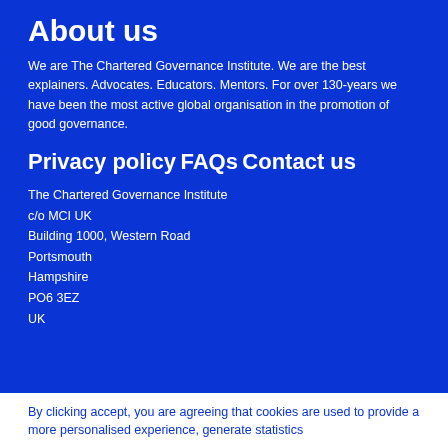About us
We are The Chartered Governance Institute. We are the best explainers. Advocates. Educators. Mentors. For over 130-years we have been the most active global organisation in the promotion of good governance.
Privacy policy
FAQs
Contact us
The Chartered Governance Institute
c/o MCI UK
Building 1000, Western Road
Portsmouth
Hampshire
PO6 3EZ
UK
By clicking accept, you are agreeing that cookies are used to provide a more personalised experience, generate statistics and facilitate targeted advertising by this and other websites.